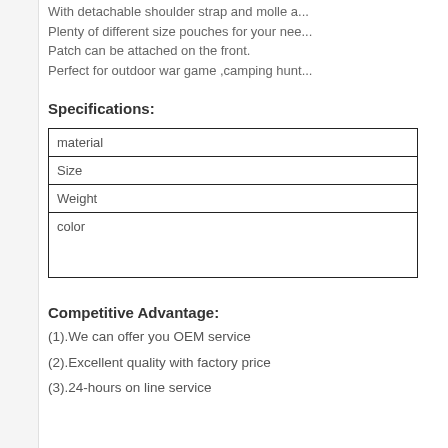With detachable shoulder strap and molle a...
Plenty of different size pouches for your nee...
Patch can be attached on the front.
Perfect for outdoor war game ,camping hunt...
Specifications:
| material |
| Size |
| Weight |
| color |
Competitive Advantage:
(1).We can offer you OEM service
(2).Excellent quality with factory price
(3).24-hours on line service